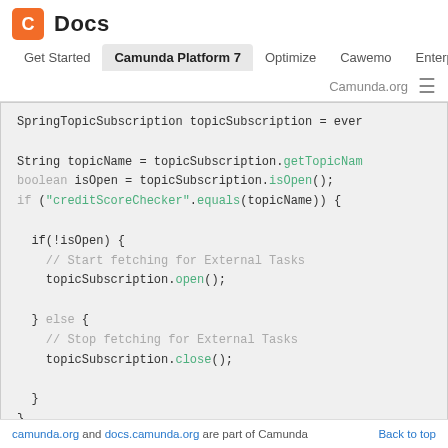C Docs | Get Started | Camunda Platform 7 | Optimize | Cawemo | Enterprise | Camunda.org
SpringTopicSubscription topicSubscription = ever
String topicName = topicSubscription.getTopicNam
boolean isOpen = topicSubscription.isOpen();
if ("creditScoreChecker".equals(topicName)) {

  if(!isOpen) {
    // Start fetching for External Tasks
    topicSubscription.open();

  } else {
    // Stop fetching for External Tasks
    topicSubscription.close();

  }
}
camunda.org and docs.camunda.org are part of Camunda   Back to top